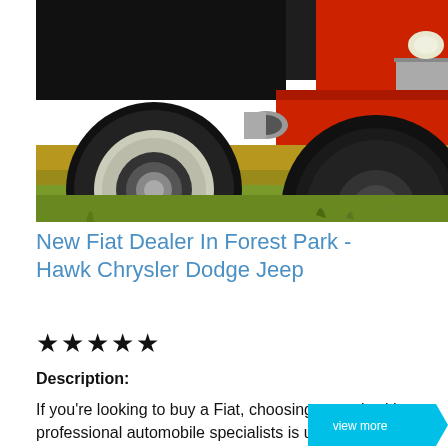[Figure (photo): Close-up photograph of classic vintage cars on grass, showing white-walled tire on left car and red car with large black tire on right, viewed from low angle]
New Fiat Dealer In Forest Park - Hawk Chrysler Dodge Jeep
★★★★★
Description:
If you're looking to buy a Fiat, choosing to work with professional automobile specialists is usuall..